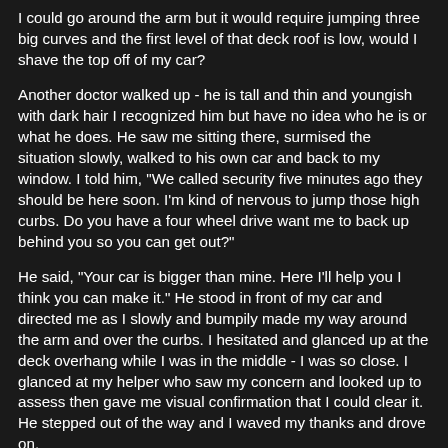I could go around the arm but it would require jumping three big curves and the first level of that deck roof is low, would I shave the top off of my car?
Another doctor walked up - he is tall and thin and youngish with dark hair I recognized him but have no idea who he is or what he does. He saw me sitting there, surmised the situation slowly, walked to his own car and back to my window. I told him, "We called security five minutes ago they should be here soon. I'm kind of nervous to jump those high curbs. Do you have a four wheel drive want me to back up behind you so you can get out?"
He said, "Your car is bigger than mine. Here I'll help you I think you can make it." He stood in front of my car and directed me as I slowly and bumpily made my way around the arm and over the curbs. I hesitated and glanced up at the deck overhang while I was in the middle - I was so close. I glanced at my helper who saw my concern and looked up to assess then gave me visual confirmation that I could clear it. He stepped out of the way and I waved my thanks and drove on.